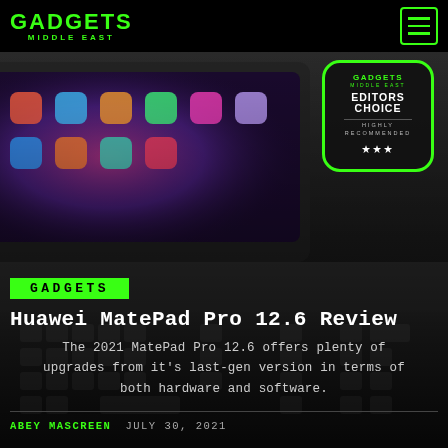GADGETS MIDDLE EAST
[Figure (photo): Huawei MatePad Pro 12.6 tablet with keyboard, hero image background for article]
[Figure (other): Gadgets Middle East Editors Choice badge - Highly Recommended with 3 stars]
GADGETS
Huawei MatePad Pro 12.6 Review
The 2021 MatePad Pro 12.6 offers plenty of upgrades from it's last-gen version in terms of both hardware and software.
ABEY MASCREEN   JULY 30, 2021